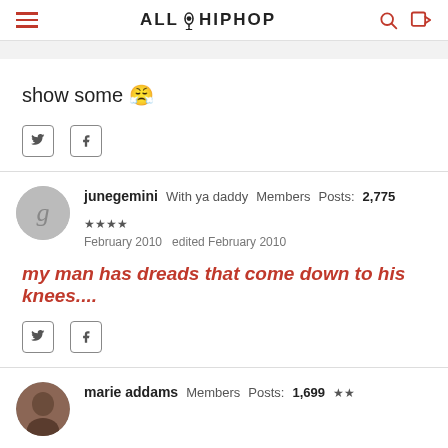AllHipHop
show some 😤
junegemini  With ya daddy  Members  Posts: 2,775  ★★★★  February 2010  edited February 2010
my man has dreads that come down to his knees....
marie addams  Members  Posts: 1,699  ★★